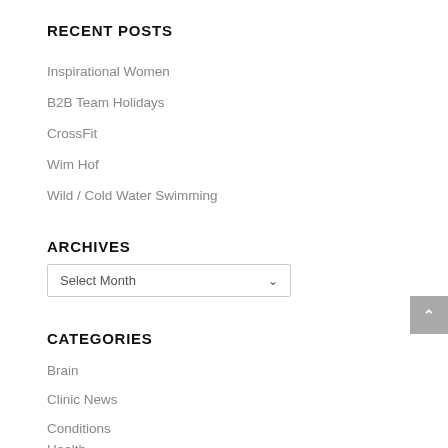RECENT POSTS
Inspirational Women
B2B Team Holidays
CrossFit
Wim Hof
Wild / Cold Water Swimming
ARCHIVES
Select Month
CATEGORIES
Brain
Clinic News
Conditions
Health